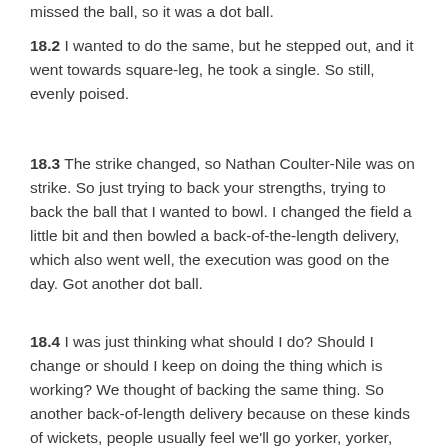missed the ball, so it was a dot ball.
18.2 I wanted to do the same, but he stepped out, and it went towards square-leg, he took a single. So still, evenly poised.
18.3 The strike changed, so Nathan Coulter-Nile was on strike. So just trying to back your strengths, trying to back the ball that I wanted to bowl. I changed the field a little bit and then bowled a back-of-the-length delivery, which also went well, the execution was good on the day. Got another dot ball.
18.4 I was just thinking what should I do? Should I change or should I keep on doing the thing which is working? We thought of backing the same thing. So another back-of-length delivery because on these kinds of wickets, people usually feel we'll go yorker, yorker, yorker, but on up and